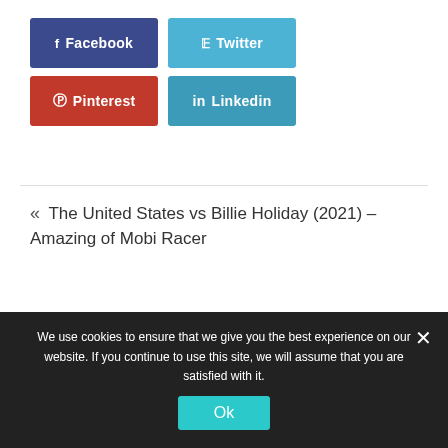[Figure (infographic): Social share buttons: Facebook (dark blue), Twitter (light blue), Pinterest (red), Linkedin (teal blue)]
« The United States vs Billie Holiday (2021) – Amazing of Mobi Racer
A Week Away (2021) – Amazing of Mobi Racer »
We use cookies to ensure that we give you the best experience on our website. If you continue to use this site, we will assume that you are satisfied with it.
Ok